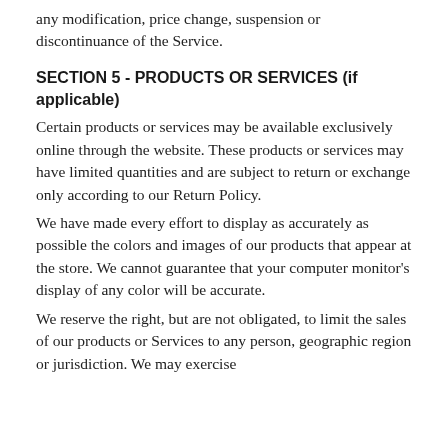any modification, price change, suspension or discontinuance of the Service.
SECTION 5 - PRODUCTS OR SERVICES (if applicable)
Certain products or services may be available exclusively online through the website. These products or services may have limited quantities and are subject to return or exchange only according to our Return Policy.
We have made every effort to display as accurately as possible the colors and images of our products that appear at the store. We cannot guarantee that your computer monitor's display of any color will be accurate.
We reserve the right, but are not obligated, to limit the sales of our products or Services to any person, geographic region or jurisdiction. We may exercise